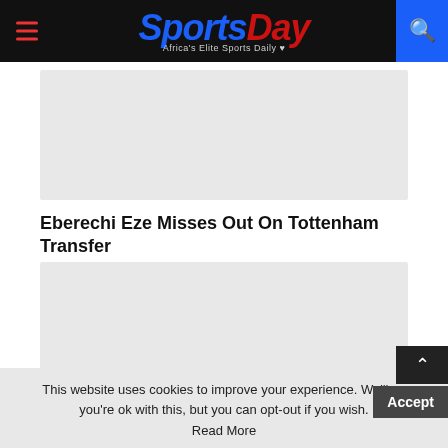SportsDay — Africa's Elite Sports Daily
[Figure (photo): Image placeholder (light gray rectangle) at top of article]
Eberechi Eze Misses Out On Tottenham Transfer
[Figure (photo): Image placeholder (light gray rectangle) below article title]
This website uses cookies to improve your experience. We'll as you're ok with this, but you can opt-out if you wish. Read More